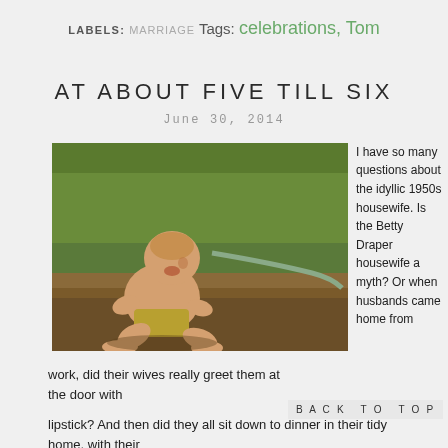LABELS: MARRIAGE  Tags: celebrations, Tom
AT ABOUT FIVE TILL SIX
June 30, 2014
[Figure (photo): Baby/toddler sitting on wet ground near a garden hose, on green grass, smiling, wearing yellow shorts, shirtless]
I have so many questions about the idyllic 1950s housewife. Is the Betty Draper housewife a myth? Or when husbands came home from work, did their wives really greet them at the door with lipstick? And then did they all sit down to dinner in their tidy home, with their
BACK TO TOP